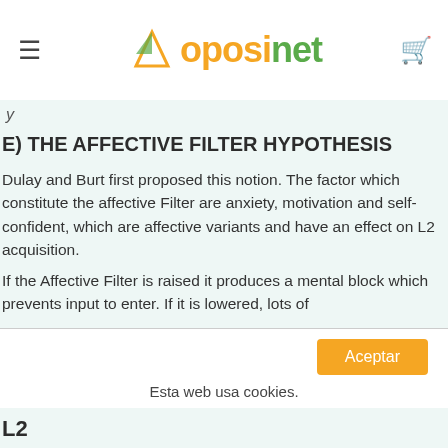oposinet
E) THE AFFECTIVE FILTER HYPOTHESIS
Dulay and Burt first proposed this notion. The factor which constitute the affective Filter are anxiety, motivation and self-confident, which are affective variants and have an effect on L2 acquisition.
If the Affective Filter is raised it produces a mental block which prevents input to enter. If it is lowered, lots of
Esta web usa cookies.
L2